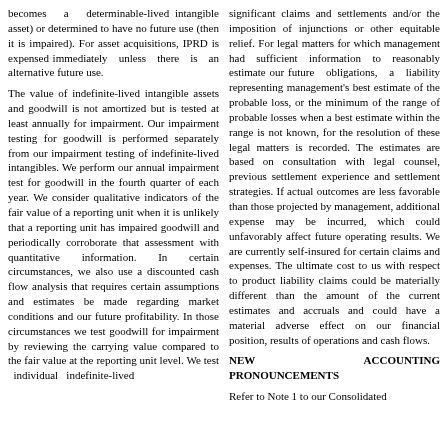becomes a determinable-lived intangible asset) or determined to have no future use (then it is impaired). For asset acquisitions, IPRD is expensed immediately unless there is an alternative future use.
The value of indefinite-lived intangible assets and goodwill is not amortized but is tested at least annually for impairment. Our impairment testing for goodwill is performed separately from our impairment testing of indefinite-lived intangibles. We perform our annual impairment test for goodwill in the fourth quarter of each year. We consider qualitative indicators of the fair value of a reporting unit when it is unlikely that a reporting unit has impaired goodwill and periodically corroborate that assessment with quantitative information. In certain circumstances, we also use a discounted cash flow analysis that requires certain assumptions and estimates be made regarding market conditions and our future profitability. In those circumstances we test goodwill for impairment by reviewing the carrying value compared to the fair value at the reporting unit level. We test individual indefinite-lived
significant claims and settlements and/or the imposition of injunctions or other equitable relief. For legal matters for which management had sufficient information to reasonably estimate our future obligations, a liability representing management's best estimate of the probable loss, or the minimum of the range of probable losses when a best estimate within the range is not known, for the resolution of these legal matters is recorded. The estimates are based on consultation with legal counsel, previous settlement experience and settlement strategies. If actual outcomes are less favorable than those projected by management, additional expense may be incurred, which could unfavorably affect future operating results. We are currently self-insured for certain claims and expenses. The ultimate cost to us with respect to product liability claims could be materially different than the amount of the current estimates and accruals and could have a material adverse effect on our financial position, results of operations and cash flows.
NEW ACCOUNTING PRONOUNCEMENTS
Refer to Note 1 to our Consolidated